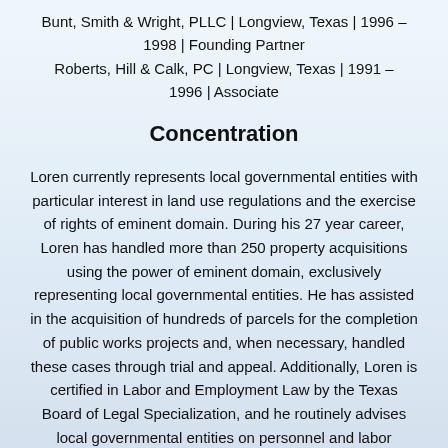Bunt, Smith & Wright, PLLC | Longview, Texas | 1996 – 1998 | Founding Partner
Roberts, Hill & Calk, PC | Longview, Texas | 1991 – 1996 | Associate
Concentration
Loren currently represents local governmental entities with particular interest in land use regulations and the exercise of rights of eminent domain. During his 27 year career, Loren has handled more than 250 property acquisitions using the power of eminent domain, exclusively representing local governmental entities. He has assisted in the acquisition of hundreds of parcels for the completion of public works projects and, when necessary, handled these cases through trial and appeal. Additionally, Loren is certified in Labor and Employment Law by the Texas Board of Legal Specialization, and he routinely advises local governmental entities on personnel and labor matters. He also advises local governmental